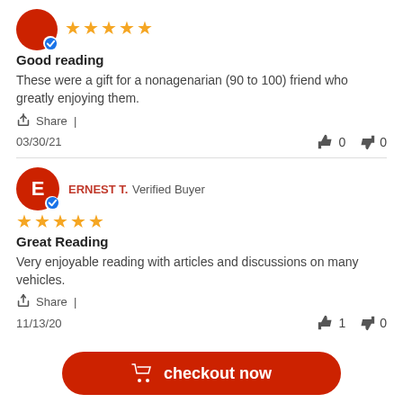[Figure (other): Red circular avatar with letter A and verified badge, followed by 5 gold stars]
Good reading
These were a gift for a nonagenarian (90 to 100) friend who greatly enjoying them.
Share |
03/30/21   👍 0   👎 0
[Figure (other): Red circular avatar with letter E and verified badge, ERNEST T. Verified Buyer, followed by 5 gold stars]
Great Reading
Very enjoyable reading with articles and discussions on many vehicles.
Share |
11/13/20   👍 1   👎 0
checkout now